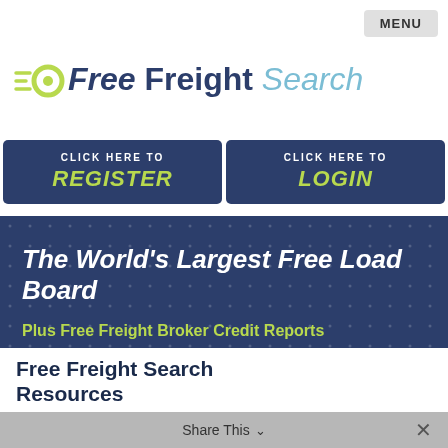[Figure (logo): Free Freight Search logo with green speed-lines circle icon and text: 'Free Freight Search']
[Figure (screenshot): Two dark navy call-to-action buttons: 'CLICK HERE TO REGISTER' and 'CLICK HERE TO LOGIN' with green italic text]
The World's Largest Free Load Board
Plus Free Freight Broker Credit Reports
Free Freight Search Resources
Share This